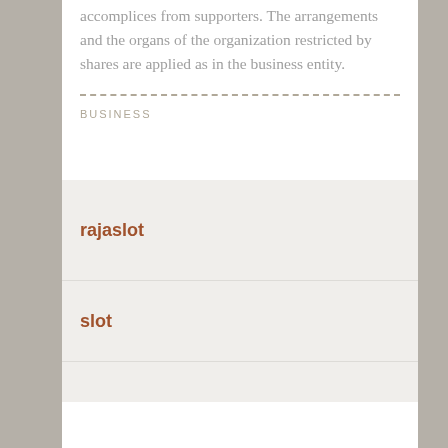accomplices from supporters. The arrangements and the organs of the organization restricted by shares are applied as in the business entity.
BUSINESS
rajaslot
slot